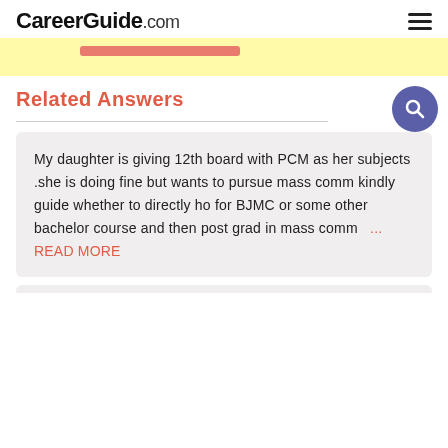CareerGuide.com
Related Answers
My daughter is giving 12th board with PCM as her subjects .she is doing fine but wants to pursue mass comm kindly guide whether to directly ho for BJMC or some other bachelor course and then post grad in mass comm ... READ MORE